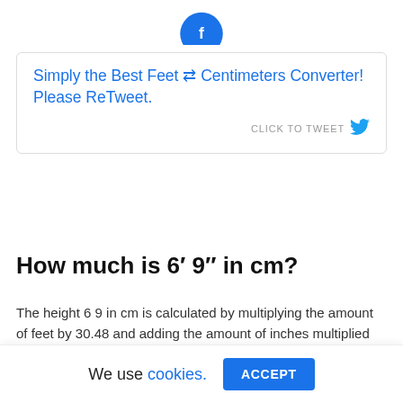[Figure (logo): Partial blue circular icon visible at top of page]
Simply the Best Feet ⇄ Centimeters Converter! Please ReTweet. CLICK TO TWEET
How much is 6′ 9″ in cm?
The height 6 9 in cm is calculated by multiplying the amount of feet by 30.48 and adding the amount of inches multiplied by 2.54.
We use cookies. ACCEPT